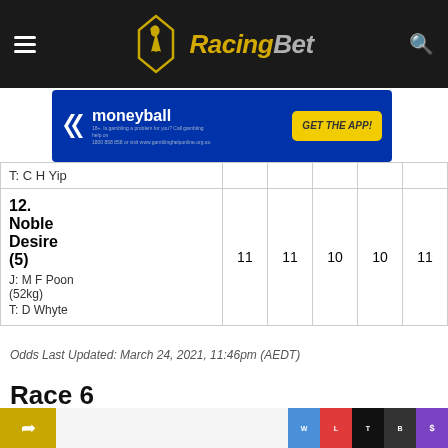RacingBet
[Figure (screenshot): Moneyball advertisement banner with blue background, logo, and GET THE APP button]
| Horse |  |  |  |  |  |
| --- | --- | --- | --- | --- | --- |
| T: C H Yip |  |  |  |  |  |
| 12. Noble Desire (5)
J: M F Poon (52kg)
T: D Whyte | 11 | 11 | 10 | 10 | 11 |
Odds Last Updated: March 24, 2021, 11:46pm (AEDT)
Race 6
LOK FU HCP (C4) (1650M)
12:15AM (AEDT)